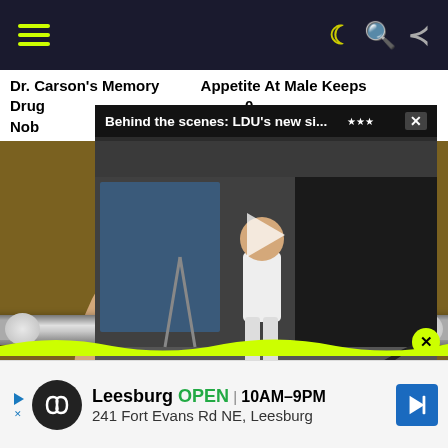Navigation bar with hamburger menu and icons
Dr. Carson's Memory Appetite At Male Keeps Drug No 0 Nob
[Figure (screenshot): Video overlay showing 'Behind the scenes: LDU's new si...' with a person in white sports kit in a photography studio, play button visible]
[Figure (photo): Close-up photo of a woman's face smiling, with two spoons held horizontally across her eyes/forehead region, golden/khaki background]
[Figure (other): Advertisement banner: Leesburg OPEN 10AM-9PM, 241 Fort Evans Rd NE, Leesburg with navigation arrow icon]